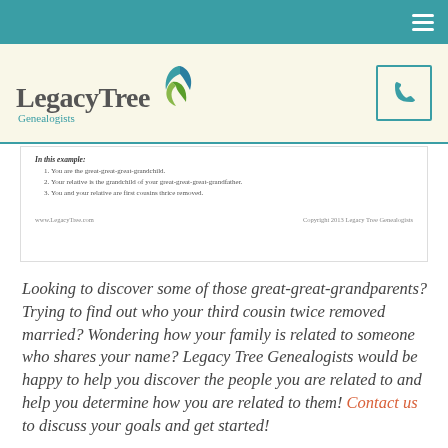[Figure (logo): LegacyTree Genealogists logo with teal and green leaf graphic]
[Figure (screenshot): Document excerpt showing: In this example: 1. You are the great-great-great-grandchild. 2. Your relative is the grandchild of your great-great-great-grandfather. 3. You and your relative are first cousins thrice removed. Footer: www.LegacyTree.com / Copyright 2013 Legacy Tree Genealogists]
Looking to discover some of those great-great-grandparents? Trying to find out who your third cousin twice removed married? Wondering how your family is related to someone who shares your name? Legacy Tree Genealogists would be happy to help you discover the people you are related to and help you determine how you are related to them! Contact us to discuss your goals and get started!